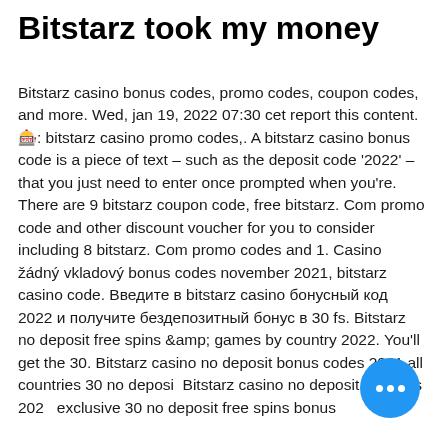Bitstarz took my money
Bitstarz casino bonus codes, promo codes, coupon codes, and more. Wed, jan 19, 2022 07:30 cet report this content. 🎰: bitstarz casino promo codes,. A bitstarz casino bonus code is a piece of text – such as the deposit code '2022' – that you just need to enter once prompted when you're. There are 9 bitstarz coupon code, free bitstarz. Com promo code and other discount voucher for you to consider including 8 bitstarz. Com promo codes and 1. Casino žádný vkladový bonus codes november 2021, bitstarz casino code. Введите в bitstarz casino бонусный код 2022 и получите бездепозитный бонус в 30 fs. Bitstarz no deposit free spins &amp;amp; games by country 2022. You'll get the 30. Bitstarz casino no deposit bonus codes 2021 all countries 30 no deposit Bitstarz casino no deposit bonuses 2022 exclusive 30 no deposit free spins bonus